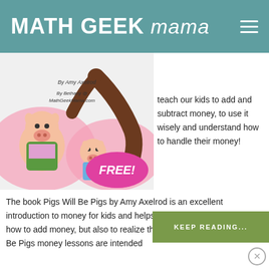MATH GEEK mama
[Figure (illustration): Book cover illustration for 'Pigs Will Be Pigs' by Amy Axelrod, featuring cartoon pig characters with a pink FREE! speech bubble. Attributed to Bethany @ MathGeekMama.com]
teach our kids to add and subtract money, to use it wisely and understand how to handle their money!
The book Pigs Will Be Pigs by Amy Axelrod is an excellent introduction to money for kids and helps them understand not only how to add money, but also to realize that it is finite. These Pigs will Be Pigs money lessons are intended
KEEP READING...